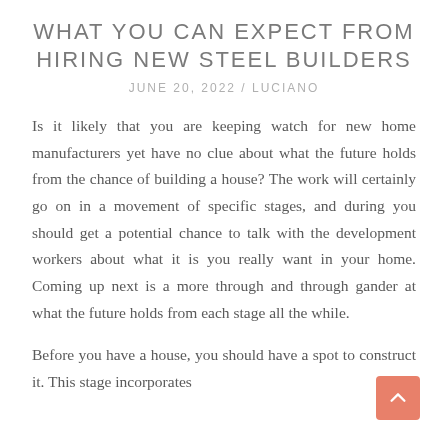WHAT YOU CAN EXPECT FROM HIRING NEW STEEL BUILDERS
JUNE 20, 2022 / LUCIANO
Is it likely that you are keeping watch for new home manufacturers yet have no clue about what the future holds from the chance of building a house? The work will certainly go on in a movement of specific stages, and during you should get a potential chance to talk with the development workers about what it is you really want in your home. Coming up next is a more through and through gander at what the future holds from each stage all the while.
Before you have a house, you should have a spot to construct it. This stage incorporates